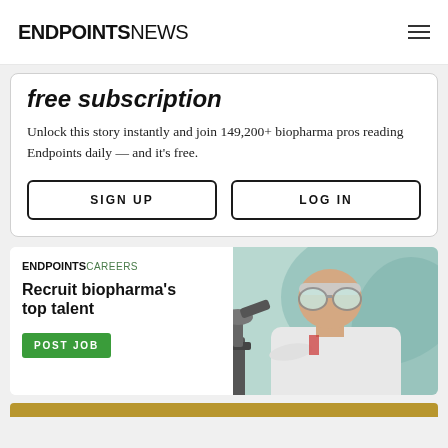ENDPOINTS NEWS
free subscription
Unlock this story instantly and join 149,200+ biopharma pros reading Endpoints daily — and it's free.
SIGN UP
LOG IN
[Figure (illustration): Endpoints Careers advertisement banner showing a scientist looking through a microscope with text 'Recruit biopharma's top talent' and a green 'POST JOB' button]
[Figure (photo): Gold/tan colored bar at the bottom of the page, partial view of another promotional image below]